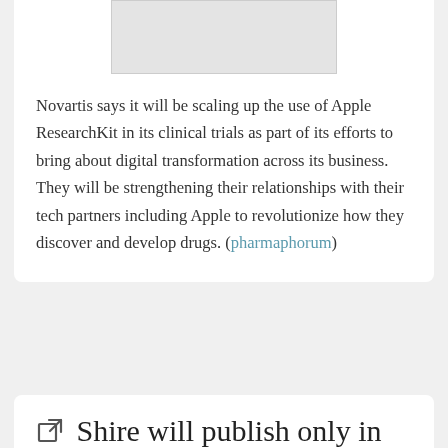[Figure (other): Partial image at top of card, appears to be a logo or banner (cropped)]
Novartis says it will be scaling up the use of Apple ResearchKit in its clinical trials as part of its efforts to bring about digital transformation across its business.  They will be strengthening their relationships with their tech partners including Apple to revolutionize how they discover and develop drugs. (pharmaphorum)
Shire will publish only in journals with free...